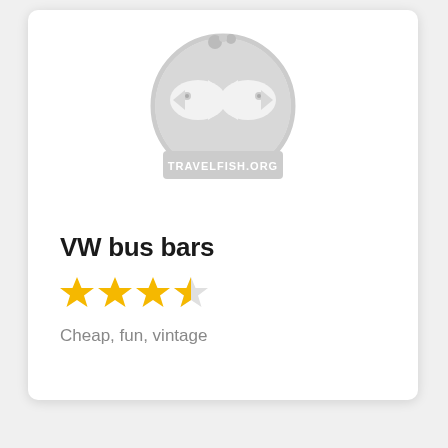[Figure (logo): Travelfish.org logo — a circular grey badge with two fish facing each other and a banner reading TRAVELFISH.ORG]
VW bus bars
[Figure (other): 3.5 star rating shown as three full gold stars and one half gold star]
Cheap, fun, vintage